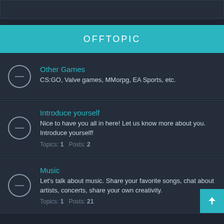OFFTOPIC
Other Games
CS:GO, Valve games, MMorpg, EA Sports, etc.
Introduce yourself
Nice to have you all in here! Let us know more about you. Introduce yourself!
Topics: 1   Posts: 2
Music
Let's talk about music. Share your favorite songs, chat about artists, concerts, share your own creativity.
Topics: 1   Posts: 21